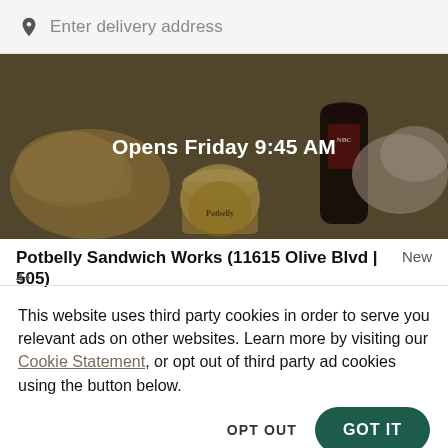Enter delivery address
[Figure (photo): Food photo showing Potbelly sandwiches, soup cups, and drinks on a dark background with text 'Opens Friday 9:45 AM' overlaid in white]
Potbelly Sandwich Works (11615 Olive Blvd | 505)
New
4+
This website uses third party cookies in order to serve you relevant ads on other websites. Learn more by visiting our Cookie Statement, or opt out of third party ad cookies using the button below.
OPT OUT
GOT IT